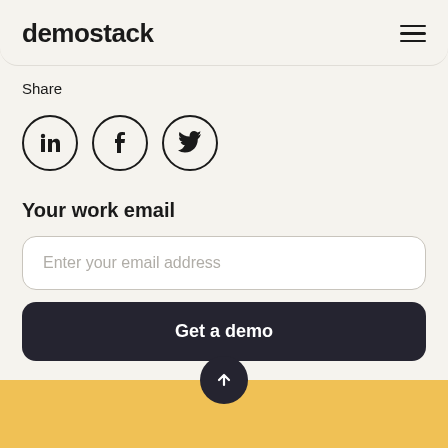demostack
Share
[Figure (illustration): Three social media icon circles: LinkedIn, Facebook, Twitter]
Your work email
Enter your email address
Get a demo
[Figure (illustration): Scroll-to-top button with upward arrow, over a yellow footer bar]